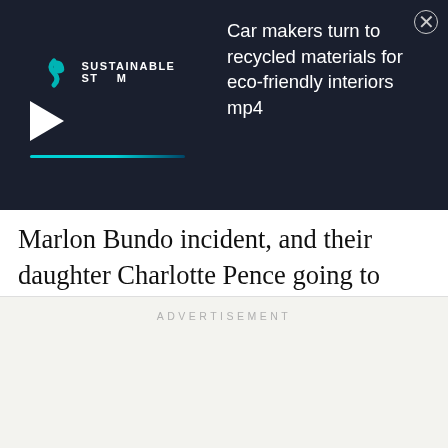[Figure (screenshot): Video ad banner with dark background showing 'Sustainable Stream' logo with play button, progress bar, and text 'Car makers turn to recycled materials for eco-friendly interiors mp4' with close button]
Marlon Bundo incident, and their daughter Charlotte Pence going to places like The View to assure that her family doesn’t “hate anyone,” they would at least try not to put their blatant homophobia on display. But then I remembered homophobes don’t have shame.
ADVERTISEMENT